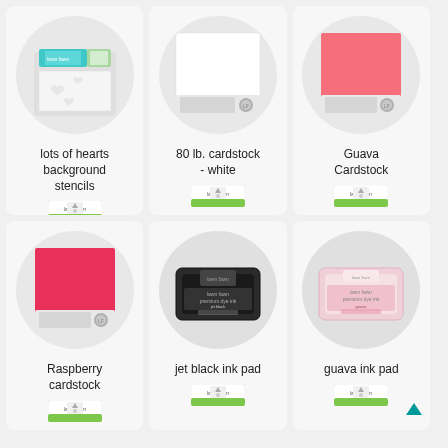[Figure (other): Product card: lots of hearts background stencils]
lots of hearts background stencils
[Figure (other): Product card: 80 lb. cardstock - white]
80 lb. cardstock - white
[Figure (other): Product card: Guava Cardstock]
Guava Cardstock
[Figure (other): Product card: Raspberry cardstock]
Raspberry cardstock
[Figure (other): Product card: jet black ink pad]
jet black ink pad
[Figure (other): Product card: guava ink pad]
guava ink pad